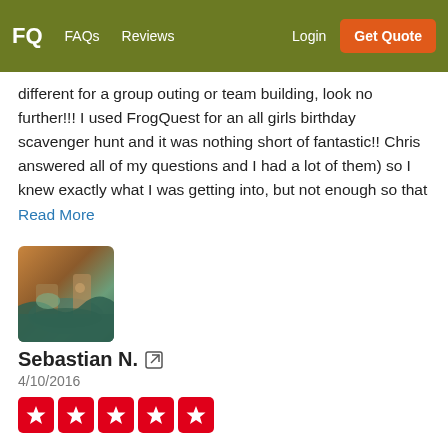FQ  FAQs  Reviews  Login  Get Quote
different for a group outing or team building, look no further!!! I used FrogQuest for an all girls birthday scavenger hunt and it was nothing short of fantastic!! Chris answered all of my questions and I had a lot of them) so I knew exactly what I was getting into, but not enough so that
Read More
[Figure (photo): Avatar photo of Sebastian N. showing an outdoor nature scene with rocks and water]
Sebastian N.
4/10/2016
[Figure (other): Five red star rating boxes]
We celebrated my sister-in-law's 30th birthday in San Diego. One of the highlights was our FrogQuest scavenger hunt adventure. We had a lot of fun running around the Gaslamp district with which none of us were familiar. It's a great way to inadvertently get accustomed to a